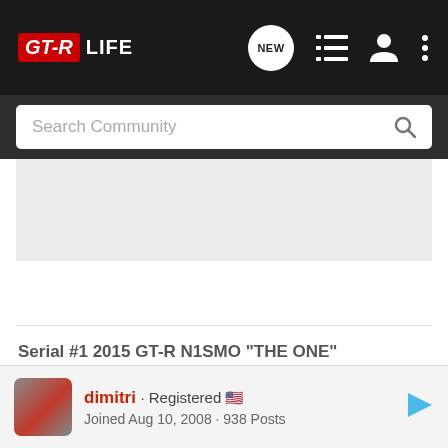GT-R LIFE
[Figure (screenshot): Search Community input bar with magnifying glass icon]
[Figure (other): Gray placeholder content block (advertisement or image area)]
Serial #1 2015 GT-R N1SMO "THE ONE"
dimitri · Registered
Joined Aug 10, 2008 · 938 Posts